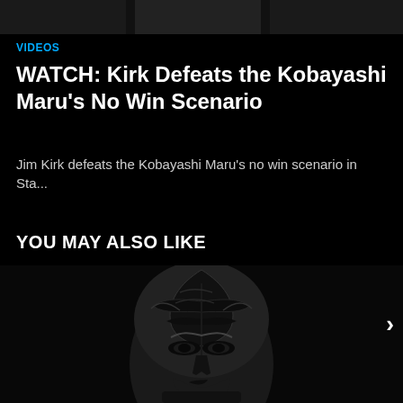[Figure (screenshot): Dark top navigation bar with thumbnail images partially visible]
VIDEOS
WATCH: Kirk Defeats the Kobayashi Maru's No Win Scenario
Jim Kirk defeats the Kobayashi Maru's no win scenario in Sta...
YOU MAY ALSO LIKE
[Figure (photo): Black and white close-up photo of a man with dark face tattoos/markings on his head and face, intense expression, dark background. A right-pointing arrow chevron appears on the right side.]